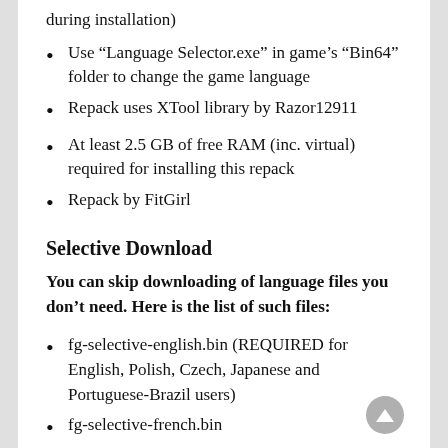during installation)
Use “Language Selector.exe” in game’s “Bin64” folder to change the game language
Repack uses XTool library by Razor12911
At least 2.5 GB of free RAM (inc. virtual) required for installing this repack
Repack by FitGirl
Selective Download
You can skip downloading of language files you don’t need. Here is the list of such files:
fg-selective-english.bin (REQUIRED for English, Polish, Czech, Japanese and Portuguese-Brazil users)
fg-selective-french.bin